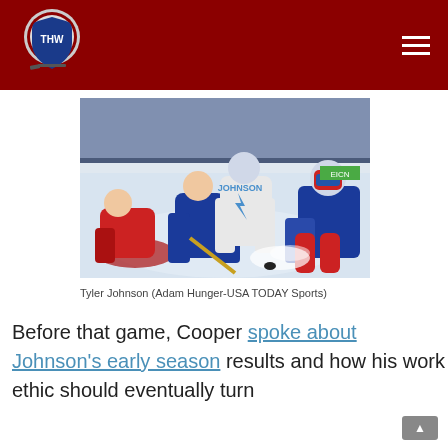THW (The Hockey Writers) logo and navigation
[Figure (photo): Ice hockey action photo showing Tyler Johnson of Tampa Bay Lightning in white jersey attempting a shot against New York Rangers goalie and defenseman in blue jerseys, ice spray visible]
Tyler Johnson (Adam Hunger-USA TODAY Sports)
Before that game, Cooper spoke about Johnson's early season results and how his work ethic should eventually turn